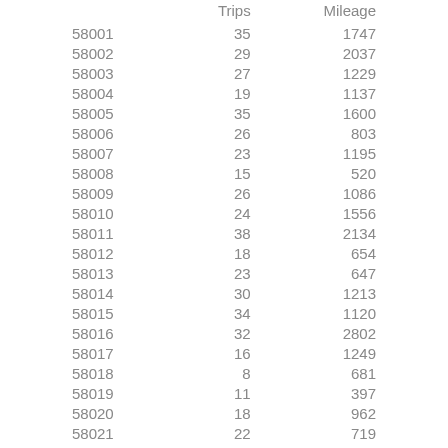|  | Trips | Mileage |
| --- | --- | --- |
| 58001 | 35 | 1747 |
| 58002 | 29 | 2037 |
| 58003 | 27 | 1229 |
| 58004 | 19 | 1137 |
| 58005 | 35 | 1600 |
| 58006 | 26 | 803 |
| 58007 | 23 | 1195 |
| 58008 | 15 | 520 |
| 58009 | 26 | 1086 |
| 58010 | 24 | 1556 |
| 58011 | 38 | 2134 |
| 58012 | 18 | 654 |
| 58013 | 23 | 647 |
| 58014 | 30 | 1213 |
| 58015 | 34 | 1120 |
| 58016 | 32 | 2802 |
| 58017 | 16 | 1249 |
| 58018 | 8 | 681 |
| 58019 | 11 | 397 |
| 58020 | 18 | 962 |
| 58021 | 22 | 719 |
| 58022 | 8 | 521 |